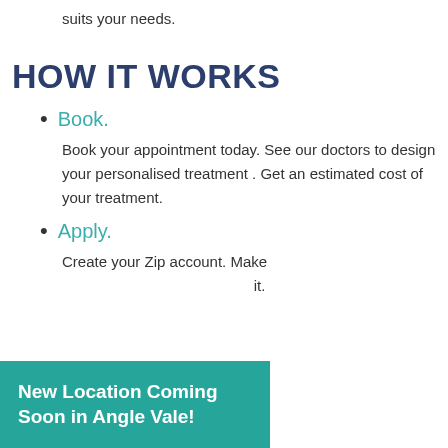A flexible account with a limit that suits your needs.
HOW IT WORKS
Book.
Book your appointment today. See our doctors to design your personalised treatment . Get an estimated cost of your treatment.
Apply.
Create your Zip account. Make ... it.
[Figure (infographic): Teal banner overlay at bottom-left reading 'New Location Coming Soon in Angle Vale!']